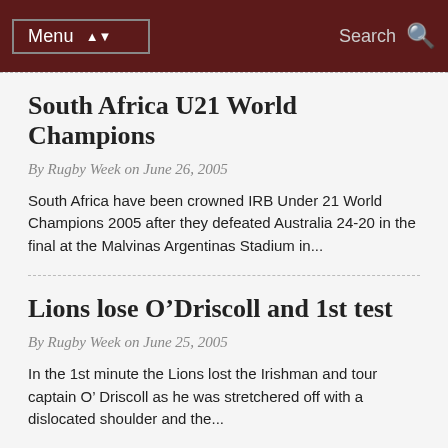Menu  Search
South Africa U21 World Champions
By Rugby Week on June 26, 2005
South Africa have been crowned IRB Under 21 World Champions 2005 after they defeated Australia 24-20 in the final at the Malvinas Argentinas Stadium in...
Lions lose O'Driscoll and 1st test
By Rugby Week on June 25, 2005
In the 1st minute the Lions lost the Irishman and tour captain O' Driscoll as he was stretchered off with a dislocated shoulder and the...
Reds to snap up playmaker
By Rugby Week on June 15, 2005
The Sydney Morning herald is reporting that Queensland is poised to
By continuing to use the site, you agree to the use of cookies. more information  Accept